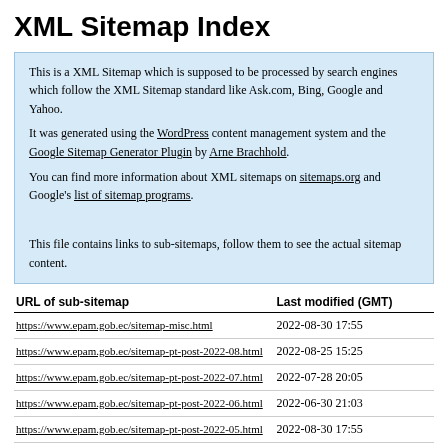XML Sitemap Index
This is a XML Sitemap which is supposed to be processed by search engines which follow the XML Sitemap standard like Ask.com, Bing, Google and Yahoo.
It was generated using the WordPress content management system and the Google Sitemap Generator Plugin by Arne Brachhold.
You can find more information about XML sitemaps on sitemaps.org and Google's list of sitemap programs.

This file contains links to sub-sitemaps, follow them to see the actual sitemap content.
| URL of sub-sitemap | Last modified (GMT) |
| --- | --- |
| https://www.epam.gob.ec/sitemap-misc.html | 2022-08-30 17:55 |
| https://www.epam.gob.ec/sitemap-pt-post-2022-08.html | 2022-08-25 15:25 |
| https://www.epam.gob.ec/sitemap-pt-post-2022-07.html | 2022-07-28 20:05 |
| https://www.epam.gob.ec/sitemap-pt-post-2022-06.html | 2022-06-30 21:03 |
| https://www.epam.gob.ec/sitemap-pt-post-2022-05.html | 2022-08-30 17:55 |
| https://www.epam.gob.ec/sitemap-pt-post-2022-04.html | 2022-04-29 15:58 |